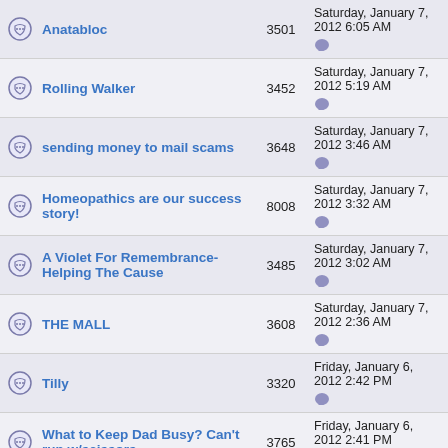Anatabloc | 3501 | Saturday, January 7, 2012 6:05 AM
Rolling Walker | 3452 | Saturday, January 7, 2012 5:19 AM
sending money to mail scams | 3648 | Saturday, January 7, 2012 3:46 AM
Homeopathics are our success story! | 8008 | Saturday, January 7, 2012 3:32 AM
A Violet For Remembrance-Helping The Cause | 3485 | Saturday, January 7, 2012 3:02 AM
THE MALL | 3608 | Saturday, January 7, 2012 2:36 AM
Tilly | 3320 | Friday, January 6, 2012 2:42 PM
What to Keep Dad Busy? Can't run w/scissors... | 3765 | Friday, January 6, 2012 2:41 PM
Mom COMPLETELY dressed herself today!!!!!!!!! | 3734 | Friday, January 6, 2012 2:40 PM
Showers and Shampoo ideas... | 3363 | Friday, January 6,